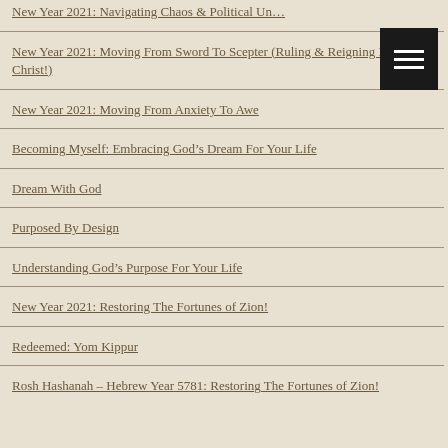New Year 2021: Navigating Chaos & Political Un…
New Year 2021: Moving From Sword To Scepter (Ruling & Reigning In Christ!)
New Year 2021: Moving From Anxiety To Awe
Becoming Myself: Embracing God's Dream For Your Life
Dream With God
Purposed By Design
Understanding God's Purpose For Your Life
New Year 2021: Restoring The Fortunes of Zion!
Redeemed: Yom Kippur
Rosh Hashanah – Hebrew Year 5781: Restoring The Fortunes of Zion!